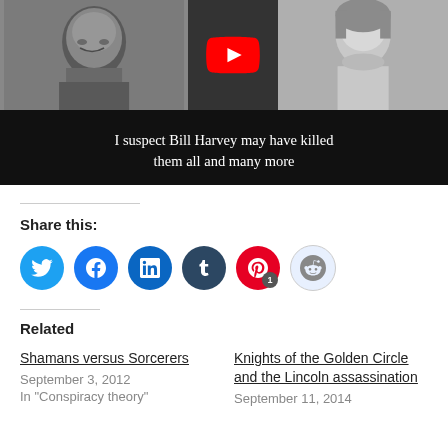[Figure (screenshot): YouTube video thumbnail showing two black-and-white photos flanking a YouTube play button, with handwritten-style text: 'I suspect Bill Harvey may have killed them all and many more']
Share this:
[Figure (infographic): Row of social share icon circles: Twitter (blue), Facebook (blue), LinkedIn (blue), Tumblr (dark blue), Pinterest (red, badge '1'), Reddit (light blue)]
Related
Shamans versus Sorcerers
September 3, 2012
In "Conspiracy theory"
Knights of the Golden Circle and the Lincoln assassination
September 11, 2014